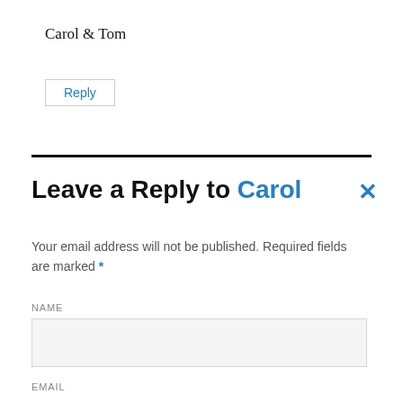Carol & Tom
Reply
Leave a Reply to Carol ×
Your email address will not be published. Required fields are marked *
NAME
EMAIL